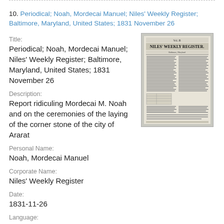10. Periodical; Noah, Mordecai Manuel; Niles' Weekly Register; Baltimore, Maryland, United States; 1831 November 26
Title:
Periodical; Noah, Mordecai Manuel; Niles' Weekly Register; Baltimore, Maryland, United States; 1831 November 26
[Figure (photo): Thumbnail image of Niles' Weekly Register newspaper front page]
Description:
Report ridiculing Mordecai M. Noah and on the ceremonies of the laying of the corner stone of the city of Ararat
Personal Name:
Noah, Mordecai Manuel
Corporate Name:
Niles' Weekly Register
Date:
1831-11-26
Language:
English
Rights: